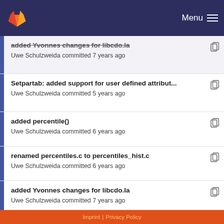GitLab navigation bar with Menu
added Yvonnes changes for libcdo.la
Uwe Schulzweida committed 7 years ago
Setpartab: added support for user defined attribut...
Uwe Schulzweida committed 5 years ago
added percentile()
Uwe Schulzweida committed 6 years ago
renamed percentiles.c to percentiles_hist.c
Uwe Schulzweida committed 6 years ago
added Yvonnes changes for libcdo.la
Uwe Schulzweida committed 7 years ago
Added pmlist.c pmlist.h.
Uwe Schulzweida committed 5 years ago
added Yvonnes changes for libcdo.la
Uwe Schulzweida committed 7 years ago
Imprint | Privacy Policy